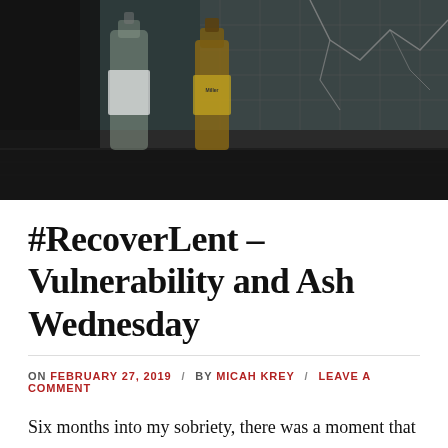[Figure (photo): Dark moody photograph of two glass bottles (one clear liquor bottle with a white label, one brown Miller bottle) resting on a weathered sill in front of a cracked, wire-reinforced window. The scene is dimly lit with a dark industrial atmosphere.]
#RecoverLent – Vulnerability and Ash Wednesday
ON FEBRUARY 27, 2019 / BY MICAH KREY / LEAVE A COMMENT
Six months into my sobriety, there was a moment that